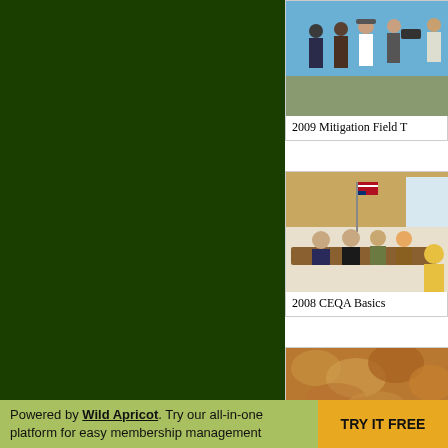[Figure (illustration): Dark green background panel on the left side of the page]
[Figure (photo): Outdoor photo showing people in the field, likely a mitigation field trip, with blue sky background]
2009 Mitigation Field T
[Figure (photo): Indoor meeting room photo showing people seated at a conference table with a US flag and presentation screen]
2008 CEQA Basics
[Figure (photo): Partial photo of a nature/vegetation scene, golden/brown tones]
Powered by Wild Apricot. Try our all-in-one platform for easy membership management
TRY IT FREE